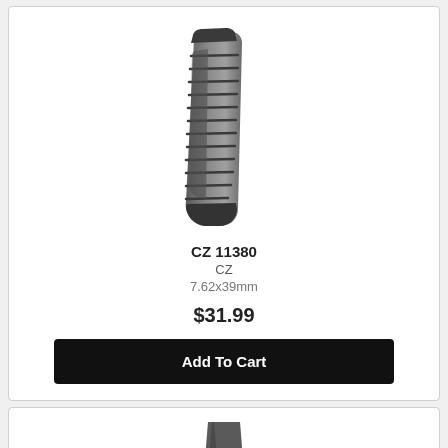[Figure (photo): Curved rifle magazine, CZ brand, dark gray/black color, shown at an angle]
CZ 11380
CZ
7.62x39mm
$31.99
Add To Cart